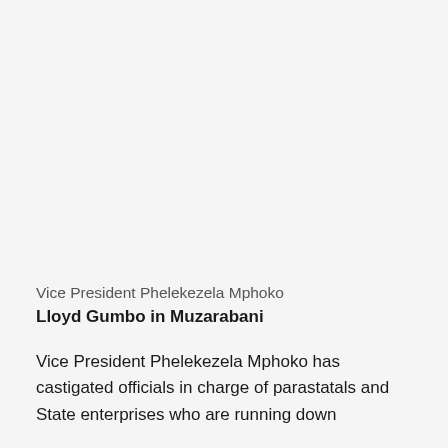Vice President Phelekezela Mphoko
Lloyd Gumbo in Muzarabani
Vice President Phelekezela Mphoko has castigated officials in charge of parastatals and State enterprises who are running down